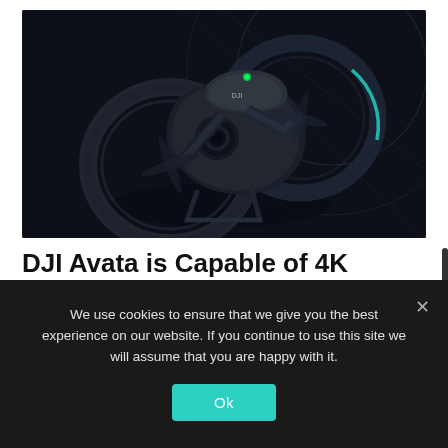[Figure (photo): DJI Avata drone photographed on a dark background with circular geometric lines. The drone has an integrated camera, propeller guards, and a compact body with DJI branding. Subtle blue-teal lighting accents the propeller guard edges.]
DJI Avata is Capable of 4K Recording at 60fps
We use cookies to ensure that we give you the best experience on our website. If you continue to use this site we will assume that you are happy with it.